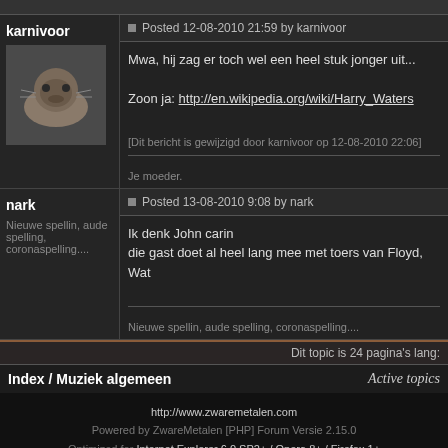karnivoor
Posted 12-08-2010 21:59 by karnivoor
Mwa, hij zag er toch wel een heel stuk jonger uit...
Zoon ja: http://en.wikipedia.org/wiki/Harry_Waters
[Dit bericht is gewijzigd door karnivoor op 12-08-2010 22:06]
Je moeder.
nark
Posted 13-08-2010 9:08 by nark
Nieuwe spellin, aude spelling, coronaspelling....
Ik denk John carin
die gast doet al heel lang mee met toers van Floyd, Wat
Nieuwe spellin, aude spelling, coronaspelling....
Dit topic is 24 pagina's lang:
Index / Muziek algemeen
Active topics
http://www.zwaremetalen.com
Powered by ZwareMetalen [PHP] Forum Versie 2.15.0
Optimized for Internet Explorer 6.0 SP2+ / Opera 8+ / Firefox 1+
© 2001 - 2022 Stichting ZwareMetalen